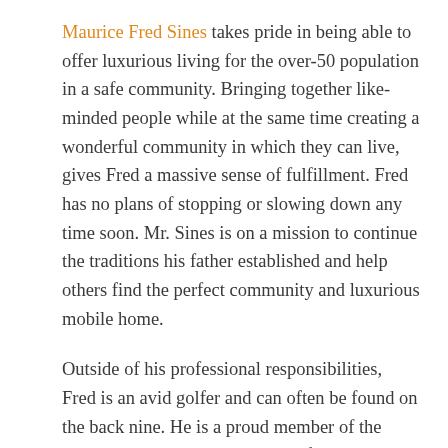Maurice Fred Sines takes pride in being able to offer luxurious living for the over-50 population in a safe community. Bringing together like-minded people while at the same time creating a wonderful community in which they can live, gives Fred a massive sense of fulfillment. Fred has no plans of stopping or slowing down any time soon. Mr. Sines is on a mission to continue the traditions his father established and help others find the perfect community and luxurious mobile home.
Outside of his professional responsibilities, Fred is an avid golfer and can often be found on the back nine. He is a proud member of the prestigious Wentworth Club and finds the sport a great way to relax and unwind. While Fred enjoys travelling, he especially loves travelling abroad to discover the best courses outside of the UK. He most recently played at the Marbella Golf Club in Spain and cannot